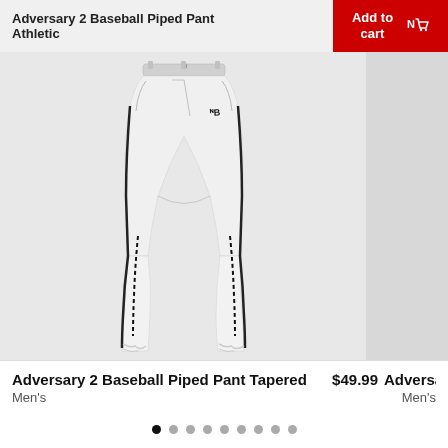Adversary 2 Baseball Piped Pant Athletic
[Figure (photo): White New Balance Adversary 2 Baseball Piped Pant Tapered displayed on a light gray background. The pants are full-length with black piping detail along the sides.]
Adversary 2 Baseball Piped Pant Tapered $49.99
Men's
Adversary 2 B
Men's